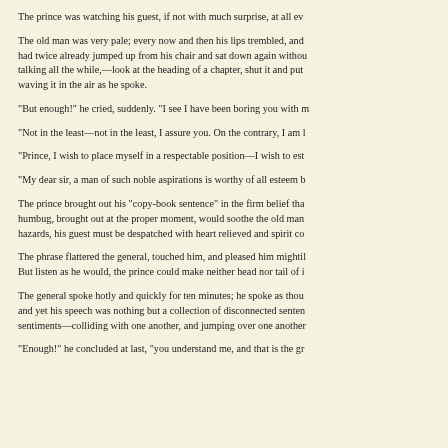The prince was watching his guest, if not with much surprise, at all ev
The old man was very pale; every now and then his lips trembled, and had twice already jumped up from his chair and sat down again withou talking all the while,—look at the heading of a chapter, shut it and put waving it in the air as he spoke.
"But enough!" he cried, suddenly. "I see I have been boring you with m
"Not in the least—not in the least, I assure you. On the contrary, I am l
"Prince, I wish to place myself in a respectable position—I wish to est
"My dear sir, a man of such noble aspirations is worthy of all esteem b
The prince brought out his "copy-book sentence" in the firm belief tha humbug, brought out at the proper moment, would soothe the old man hazards, his guest must be despatched with heart relieved and spirit co
The phrase flattered the general, touched him, and pleased him mightil But listen as he would, the prince could make neither head nor tail of i
The general spoke hotly and quickly for ten minutes; he spoke as thou and yet his speech was nothing but a collection of disconnected senten sentiments—colliding with one another, and jumping over one another
"Enough!" he concluded at last, "you understand me, and that is the gr